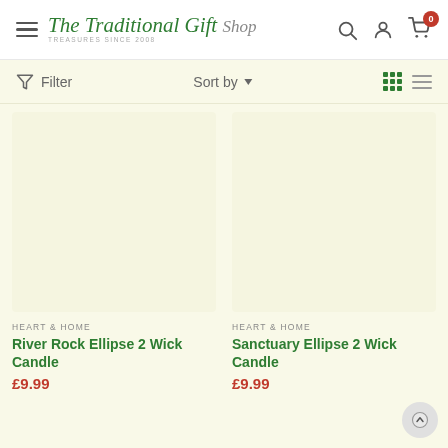The Traditional Gift Shop — Header navigation with hamburger menu, logo, search, account, and cart (0 items)
Filter | Sort by | Grid/List view toggle
HEART & HOME
River Rock Ellipse 2 Wick Candle
£9.99
HEART & HOME
Sanctuary Ellipse 2 Wick Candle
£9.99